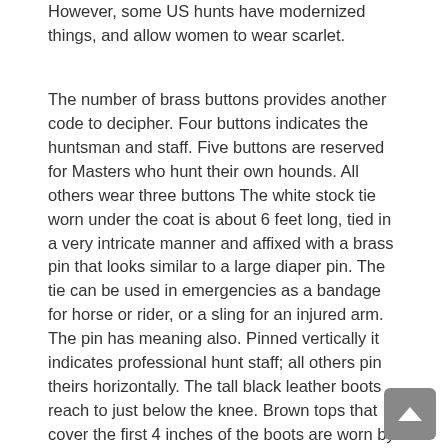However, some US hunts have modernized things, and allow women to wear scarlet.
The number of brass buttons provides another code to decipher. Four buttons indicates the huntsman and staff. Five buttons are reserved for Masters who hunt their own hounds. All others wear three buttons The white stock tie worn under the coat is about 6 feet long, tied in a very intricate manner and affixed with a brass pin that looks similar to a large diaper pin. The tie can be used in emergencies as a bandage for horse or rider, or a sling for an injured arm. The pin has meaning also. Pinned vertically it indicates professional hunt staff; all others pin theirs horizontally. The tall black leather boots reach to just below the knee. Brown tops that cover the first 4 inches of the boots are worn by Masters and hunt staff. All others wear unadorned black boots. Traditionally